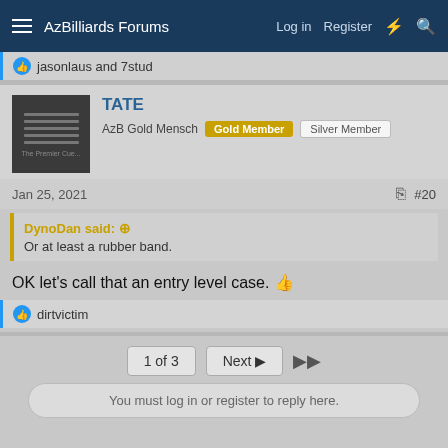AzBilliards Forums  Log in  Register
jasonlaus and 7stud
TATE
AzB Gold Mensch  Gold Member  Silver Member
Jan 25, 2021  #20
DynoDan said:
Or at least a rubber band.
OK let's call that an entry level case. 👍
dirtvictim
1 of 3  Next  ▶▶
You must log in or register to reply here.